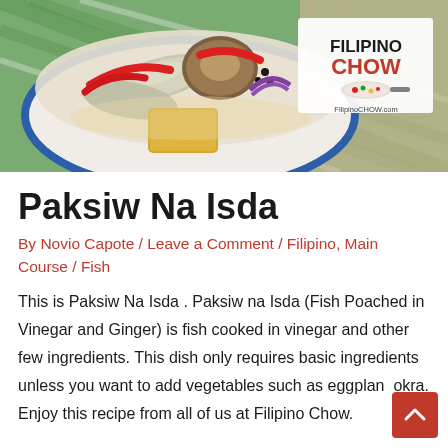[Figure (photo): A bowl of Paksiw Na Isda (fish poached in vinegar and ginger) with red peppers, on a green checkered cloth. Filipino Chow logo and FilipinoCHOW.com watermark visible.]
Paksiw Na Isda
By Novio Capote / Leave a Comment / Filipino, Main Course / Fish
This is Paksiw Na Isda . Paksiw na Isda (Fish Poached in Vinegar and Ginger) is fish cooked in vinegar and other few ingredients. This dish only requires basic ingredients unless you want to add vegetables such as eggplant okra. Enjoy this recipe from all of us at Filipino Chow.